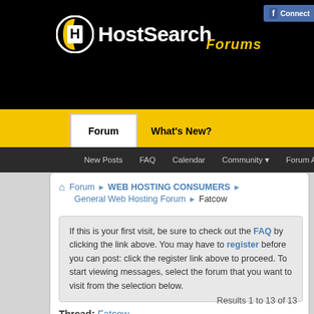[Figure (screenshot): HostSearch Forums website header with black background, logo, Facebook Connect button, User Name and Password fields, Remember Me checkbox]
Forum | What's New?
New Posts  FAQ  Calendar  Community  Forum Actions  Quick Links
Forum > WEB HOSTING CONSUMERS > General Web Hosting Forum > Fatcow
If this is your first visit, be sure to check out the FAQ by clicking the link above. You may have to register before you can post: click the register link above to proceed. To start viewing messages, select the forum that you want to visit from the selection below.
Results 1 to 13 of 13
Thread: Fatcow